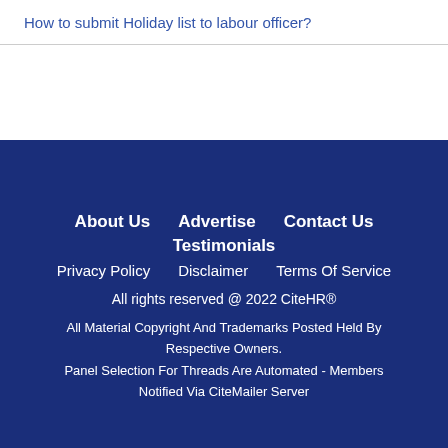How to submit Holiday list to labour officer?
About Us   Advertise   Contact Us
Testimonials
Privacy Policy   Disclaimer   Terms Of Service
All rights reserved @ 2022 CiteHR®
All Material Copyright And Trademarks Posted Held By Respective Owners.
Panel Selection For Threads Are Automated - Members Notified Via CiteMailer Server